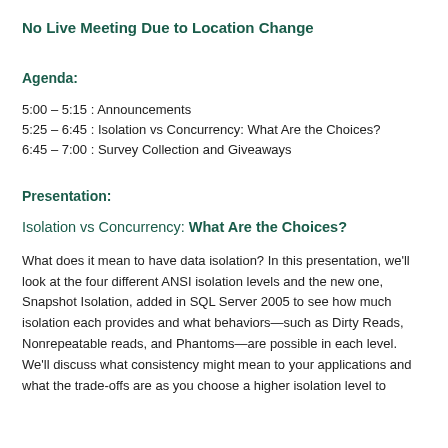No Live Meeting Due to Location Change
Agenda:
5:00 –5:15 : Announcements
5:25 –6:45 : Isolation vs Concurrency: What Are the Choices?
6:45 –7:00 : Survey Collection and Giveaways
Presentation:
Isolation vs Concurrency: What Are the Choices?
What does it mean to have data isolation? In this presentation, we'll look at the four different ANSI isolation levels and the new one, Snapshot Isolation, added in SQL Server 2005 to see how much isolation each provides and what behaviors—such as Dirty Reads, Nonrepeatable reads, and Phantoms—are possible in each level. We'll discuss what consistency might mean to your applications and what the trade-offs are as you choose a higher isolation level to